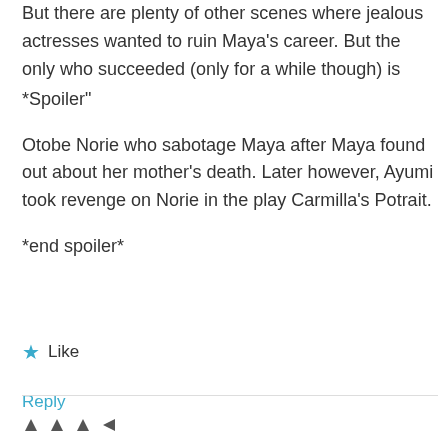But there are plenty of other scenes where jealous actresses wanted to ruin Maya's career. But the only who succeeded (only for a while though) is
*Spoiler"
Otobe Norie who sabotage Maya after Maya found out about her mother's death. Later however, Ayumi took revenge on Norie in the play Carmilla's Potrait.
*end spoiler*
★ Like
Reply